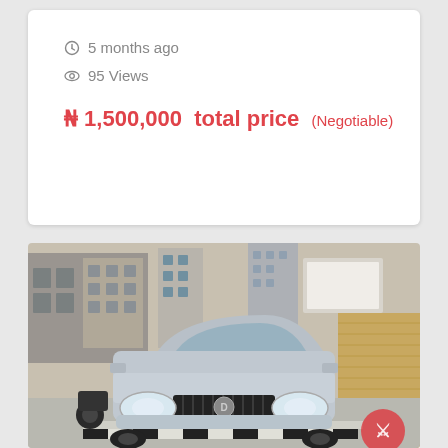5 months ago
95 Views
₦ 1,500,000  total price  (Negotiable)
[Figure (photo): Front view of a silver sedan car (Nissan) parked on a street, with multi-story buildings and a brick wall visible in the background. A red watermark/logo is visible in the bottom-right corner.]